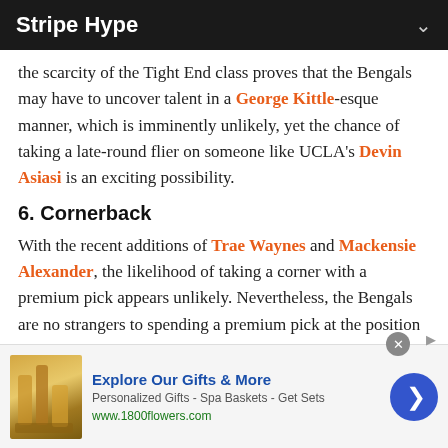Stripe Hype
the scarcity of the Tight End class proves that the Bengals may have to uncover talent in a George Kittle-esque manner, which is imminently unlikely, yet the chance of taking a late-round flier on someone like UCLA's Devin Asiasi is an exciting possibility.
6. Cornerback
With the recent additions of Trae Waynes and Mackensie Alexander, the likelihood of taking a corner with a premium pick appears unlikely. Nevertheless, the Bengals are no strangers to spending a premium pick at the position and have had relative success,
[Figure (other): Advertisement banner for 1800flowers.com: Explore Our Gifts & More. Personalized Gifts - Spa Baskets - Get Sets. www.1800flowers.com]